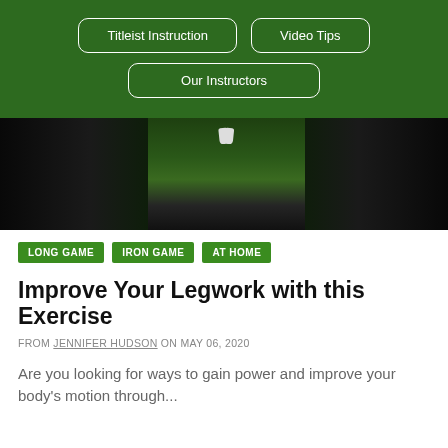Titleist Instruction | Video Tips | Our Instructors
[Figure (photo): Dark video frame showing feet/legs of a golfer on a green surface, partial view from above]
LONG GAME
IRON GAME
AT HOME
Improve Your Legwork with this Exercise
FROM JENNIFER HUDSON ON MAY 06, 2020
Are you looking for ways to gain power and improve your body's motion through...